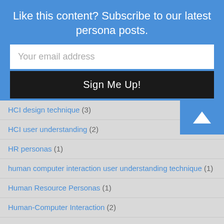Like this content? Subscribe to our latest persona posts.
Your email address
Sign Me Up!
HCI design technique (3)
HCI user understanding (2)
HR personas (1)
human computer interaction user understanding technique (1)
Human Resource Personas (1)
Human-Computer Interaction (2)
Human-Computer Interaction design technique (2)
Job Candidate Personas (1)
Marketing Personas (5)
Persona Adoption (2)